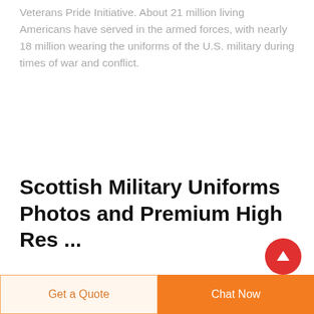Veterans Pride Initiative. About 21 million living Americans have served in the armed forces, with nearly 18 million wearing the uniforms of the U.S. military during times of war and conflict.
Scottish Military Uniforms Photos and Premium High Res ...
[Figure (logo): Partial logo with green arc/chevron shapes visible at bottom of page]